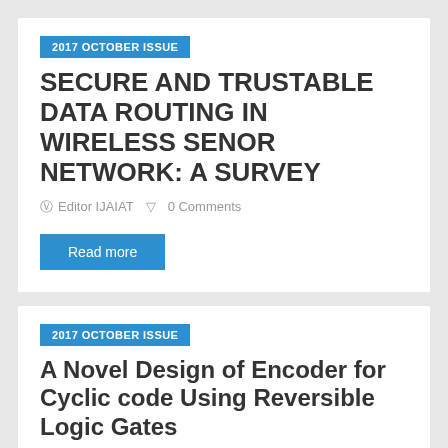2017 OCTOBER ISSUE
SECURE AND TRUSTABLE DATA ROUTING IN WIRELESS SENOR NETWORK: A SURVEY
Editor IJAIAT   0 Comments
Read more
2017 OCTOBER ISSUE
A Novel Design of Encoder for Cyclic code Using Reversible Logic Gates
Editor IJAIAT   0 Comments
Read more